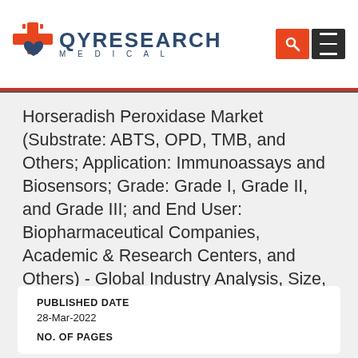[Figure (logo): QY Research Medical logo with cross/medical icon in orange and blue, with search and menu navigation buttons]
Horseradish Peroxidase Market (Substrate: ABTS, OPD, TMB, and Others; Application: Immunoassays and Biosensors; Grade: Grade I, Grade II, and Grade III; and End User: Biopharmaceutical Companies, Academic & Research Centers, and Others) - Global Industry Analysis, Size, Share, Growth, Trends, and Forecast, 2020 - 2030
PUBLISHED DATE
28-Mar-2022
NO. OF PAGES